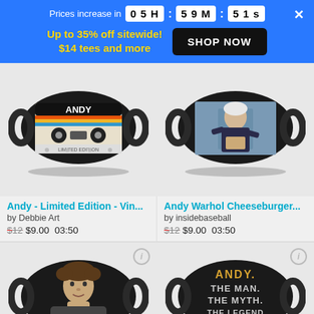Prices increase in 05 H : 59 M : 51 S
Up to 35% off sitewide! $14 tees and more
SHOP NOW
[Figure (photo): Face mask with cassette tape design labeled ANDY]
Andy - Limited Edition - Vin... by Debbie Art $12 $9.00 03:50
[Figure (photo): Face mask with Andy Warhol photo holding a cheeseburger]
Andy Warhol Cheeseburger... by insidebaseball $12 $9.00 03:50
[Figure (photo): Face mask with photo of a man with curly hair]
[Figure (photo): Face mask with text: ANDY. THE MAN. THE MYTH.]